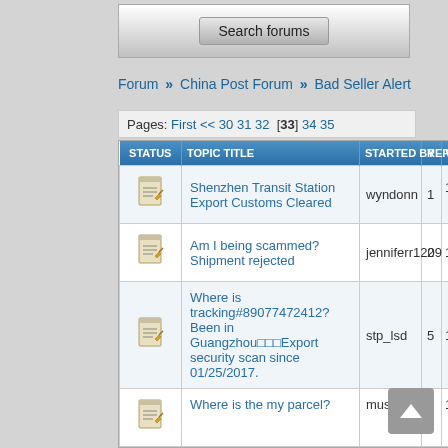[Figure (screenshot): Search forums button inside a gray search bar area]
Forum » China Post Forum » Bad Seller Alert
Pages: First << 30 31 32 [33] 34 35
| STATUS | TOPIC TITLE | STARTED BY | REPLIES | VIEW |
| --- | --- | --- | --- | --- |
| [icon] | Shenzhen Transit Station Export Customs Cleared | wyndonn | 1 | 1434 |
| [icon] | Am I being scammed? Shipment rejected | jenniferr1209 | 2 | 1540 |
| [icon] | Where is tracking#89077472412? Been in Guangzhou□□□Export security scan since 01/25/2017. | stp_lsd | 5 | 1643 |
| [icon] | Where is the my parcel? | musti257 | 1 | 1214 |